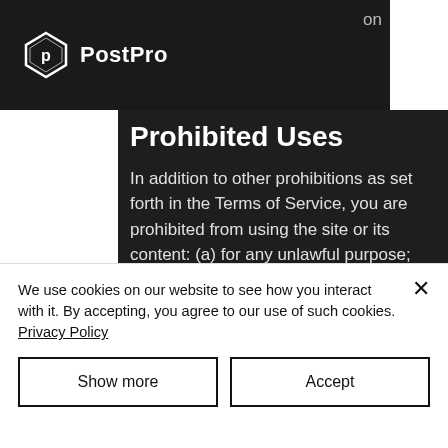PostPro
Prohibited Uses
In addition to other prohibitions as set forth in the Terms of Service, you are prohibited from using the site or its content: (a) for any unlawful purpose; (b) to solicit others to perform or participate in any unlawful acts; (c) to violate any international, federal, provincial or
We use cookies on our website to see how you interact with it. By accepting, you agree to our use of such cookies. Privacy Policy
Show more
Accept